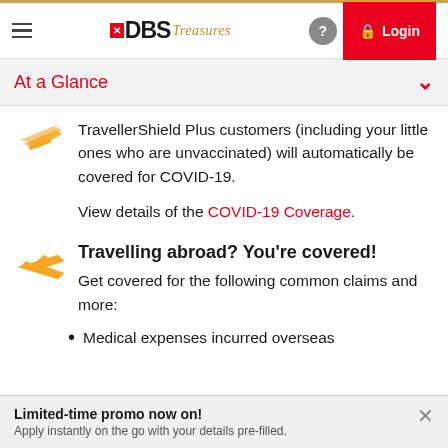DBS Treasures — Navigation bar with Login
At a Glance
TravellerShield Plus customers (including your little ones who are unvaccinated) will automatically be covered for COVID-19.
View details of the COVID-19 Coverage.
Travelling abroad? You're covered!
Get covered for the following common claims and more:
Medical expenses incurred overseas
Limited-time promo now on! Apply instantly on the go with your details pre-filled.